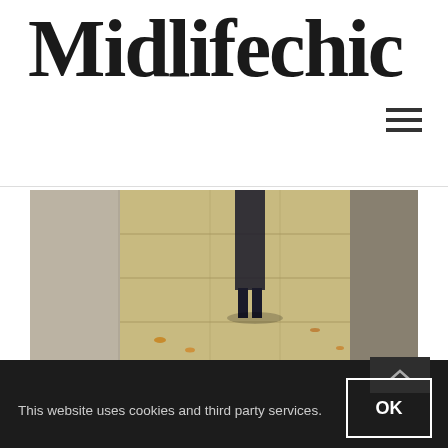Midlifechic
[Figure (photo): Street-level photo showing pavement/sidewalk with person wearing dark clothing and boots, with fallen autumn leaves visible]
Military coat now half price(gAW18) high necked silk blouse
Looking ahead to next season, John Lewis & Partners' new range is looking strong – great colours and great cuts. I'm keeping everything crossed that there will be another from Inès de La Fressange at Uniqlo – they haven't announced it yet and it's getting quite late...
This website uses cookies and third party services. OK